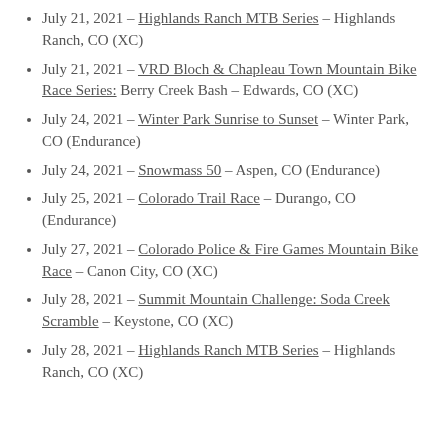July 21, 2021 – Highlands Ranch MTB Series – Highlands Ranch, CO (XC)
July 21, 2021 – VRD Bloch & Chapleau Town Mountain Bike Race Series: Berry Creek Bash – Edwards, CO (XC)
July 24, 2021 – Winter Park Sunrise to Sunset – Winter Park, CO (Endurance)
July 24, 2021 – Snowmass 50 – Aspen, CO (Endurance)
July 25, 2021 – Colorado Trail Race – Durango, CO (Endurance)
July 27, 2021 – Colorado Police & Fire Games Mountain Bike Race – Canon City, CO (XC)
July 28, 2021 – Summit Mountain Challenge: Soda Creek Scramble – Keystone, CO (XC)
July 28, 2021 – Highlands Ranch MTB Series – Highlands Ranch, CO (XC)